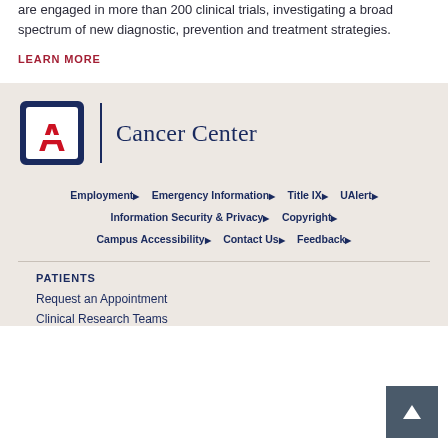are engaged in more than 200 clinical trials, investigating a broad spectrum of new diagnostic, prevention and treatment strategies.
LEARN MORE
[Figure (logo): University of Arizona Cancer Center logo — UA block letter A shield mark with vertical divider and 'Cancer Center' text in navy]
Employment | Emergency Information | Title IX | UAlert | Information Security & Privacy | Copyright | Campus Accessibility | Contact Us | Feedback
PATIENTS
Request an Appointment
Clinical Research Teams